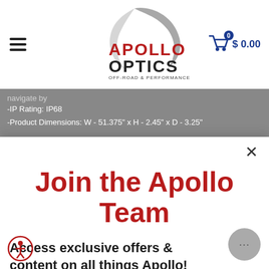[Figure (logo): Apollo Optics Off-Road & Performance logo with swoosh arc graphic in gray, APOLLO in dark red and OPTICS in dark gray/black stylized text]
-IP Rating: IP68
-Product Dimensions: W - 51.375" x H - 2.45" x D - 3.25"
Join the Apollo Team
Access exclusive offers & content on all things Apollo!